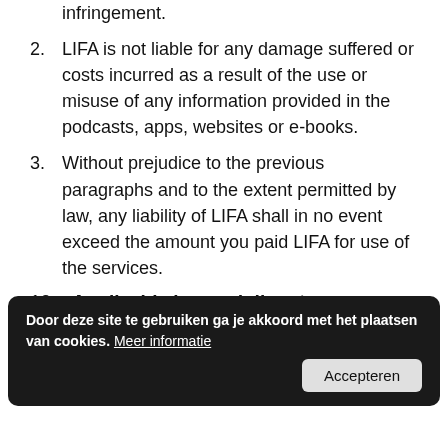infringement.
2. LIFA is not liable for any damage suffered or costs incurred as a result of the use or misuse of any information provided in the podcasts, apps, websites or e-books.
3. Without prejudice to the previous paragraphs and to the extent permitted by law, any liability of LIFA shall in no event exceed the amount you paid LIFA for use of the services.
10. Applicable law and disputes
The legal texts... is governed by... law...
Amsterdam have exclusive jurisdiction with
Cookie banner: Door deze site te gebruiken ga je akkoord met het plaatsen van cookies. Meer informatie  [Accepteren]